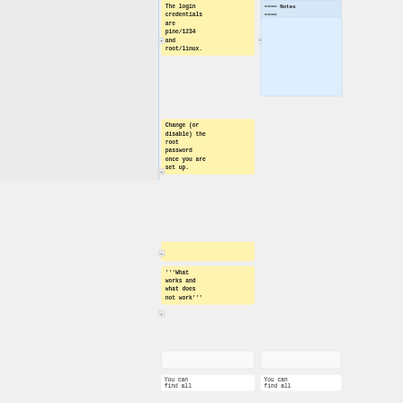The login credentials are pine/1234 and root/linux.
==== Notes ====
Change (or disable) the root password once you are set up.
'''What works and what does not work'''
You can find all
You can find all